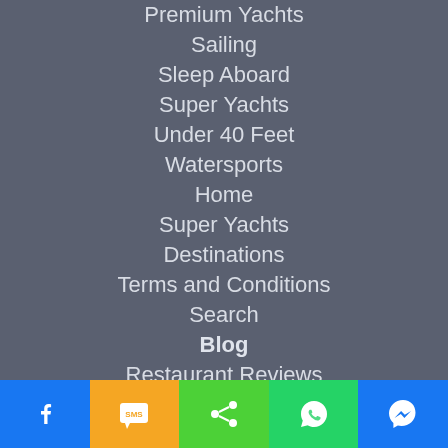Premium Yachts
Sailing
Sleep Aboard
Super Yachts
Under 40 Feet
Watersports
Home
Super Yachts
Destinations
Terms and Conditions
Search
Blog
Restaurant Reviews
Itineraries
FAQs
[Figure (infographic): Bottom toolbar with social sharing buttons: Facebook (blue), SMS (orange), Share (green), WhatsApp (green), Messenger (blue)]